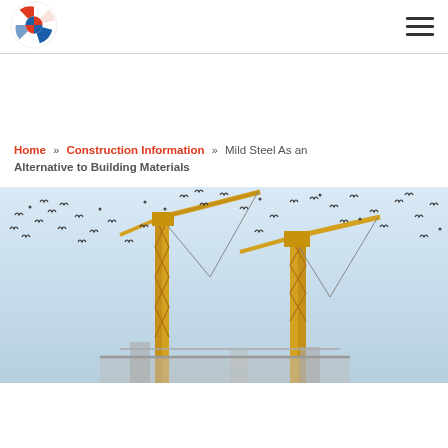[Logo] CP [Hamburger menu]
Home » Construction Information » Mild Steel As an Alternative to Building Materials
[Figure (photo): Construction cranes against a light blue sky with many birds flying around them.]